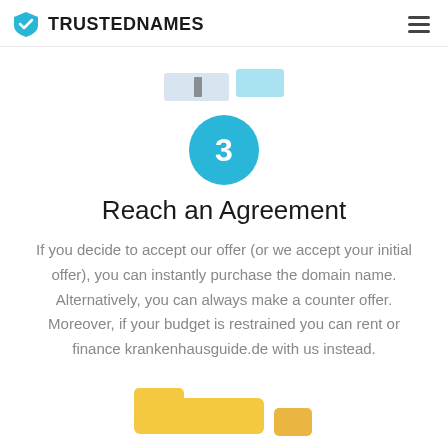TRUSTEDNAMES
[Figure (illustration): Partial screenshot showing two blurred UI elements/buttons at the top of the page content area]
[Figure (infographic): Blue circle with number 3 inside, representing step 3]
Reach an Agreement
If you decide to accept our offer (or we accept your initial offer), you can instantly purchase the domain name. Alternatively, you can always make a counter offer. Moreover, if your budget is restrained you can rent or finance krankenhausguide.de with us instead.
[Figure (illustration): Partial view of a yellow folder/file illustration at the bottom of the page]